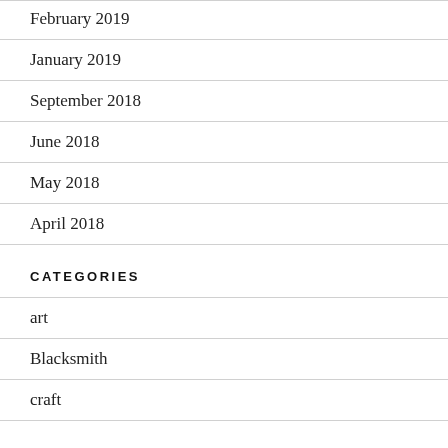February 2019
January 2019
September 2018
June 2018
May 2018
April 2018
CATEGORIES
art
Blacksmith
craft